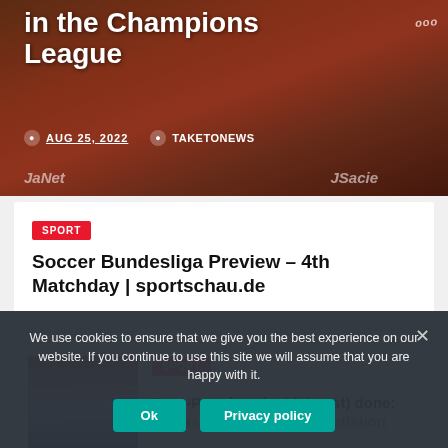[Figure (photo): Hero image of soccer players with text overlay showing Champions League article]
in the Champions League
AUG 25, 2022   TAKETONEWS
SPORT
Soccer Bundesliga Preview – 4th Matchday | sportschau.de
[Figure (photo): Photo of soccer player in Argentina jersey holding trophy]
SPORT
Juve-Paredes, deal (almost) done: the last details of the negotiation
We use cookies to ensure that we give you the best experience on our website. If you continue to use this site we will assume that you are happy with it.
Ok   Privacy policy